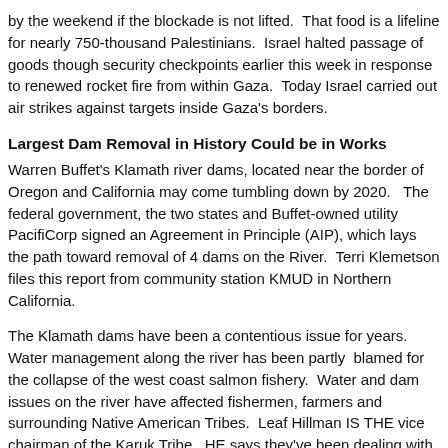by the weekend if the blockade is not lifted.  That food is a lifeline for nearly 750-thousand Palestinians.  Israel halted passage of goods though security checkpoints earlier this week in response to renewed rocket fire from within Gaza.  Today Israel carried out air strikes against targets inside Gaza's borders.
Largest Dam Removal in History Could be in Works
Warren Buffet's Klamath river dams, located near the border of Oregon and California may come tumbling down by 2020.   The federal government, the two states and Buffet-owned utility PacifiCorp signed an Agreement in Principle (AIP), which lays the path toward removal of 4 dams on the River.  Terri Klemetson files this report from community station KMUD in Northern California.
The Klamath dams have been a contentious issue for years.  Water management along the river has been partly  blamed for the collapse of the west coast salmon fishery.  Water and dam issues on the river have affected fishermen, farmers and surrounding Native American Tribes.  Leaf Hillman IS THE vice chairman of the Karuk Tribe.  HE says they've been dealing with toxic